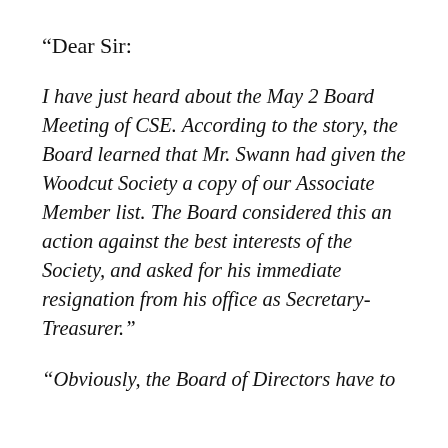“Dear Sir:
I have just heard about the May 2 Board Meeting of CSE. According to the story, the Board learned that Mr. Swann had given the Woodcut Society a copy of our Associate Member list. The Board considered this an action against the best interests of the Society, and asked for his immediate resignation from his office as Secretary-Treasurer.”
“Obviously, the Board of Directors have to